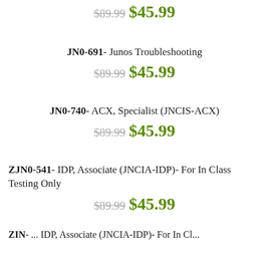$89.99  $45.99
JN0-691- Junos Troubleshooting
$89.99  $45.99
JN0-740- ACX, Specialist (JNCIS-ACX)
$89.99  $45.99
ZJN0-541- IDP, Associate (JNCIA-IDP)- For In Class Testing Only
$89.99  $45.99
ZIN... ...IDP, Associate (JNCIA-IDP)- For In Class...